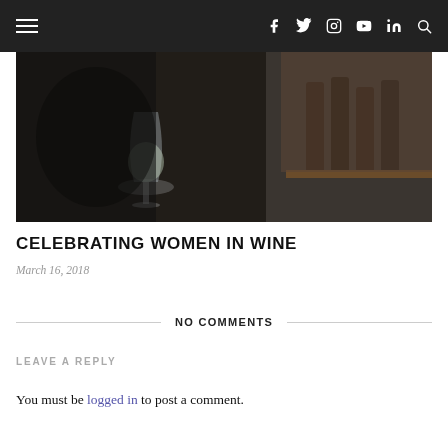Navigation bar with hamburger menu and social icons: Facebook, Twitter, Instagram, YouTube, LinkedIn, Search
[Figure (photo): A person holding a wine glass with white wine in a dimly lit wine cellar/bar, with wine bottles in the background on a wooden shelf against a stone wall.]
CELEBRATING WOMEN IN WINE
March 16, 2018
NO COMMENTS
LEAVE A REPLY
You must be logged in to post a comment.